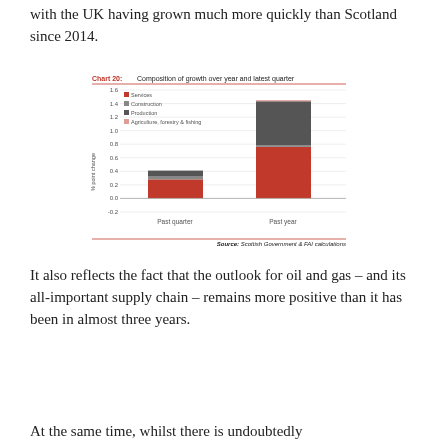with the UK having grown much more quickly than Scotland since 2014.
[Figure (stacked-bar-chart): Chart 20: Composition of growth over year and latest quarter]
Source: Scottish Government & FAI calculations
It also reflects the fact that the outlook for oil and gas – and its all-important supply chain – remains more positive than it has been in almost three years.
At the same time, whilst there is undoubtedly